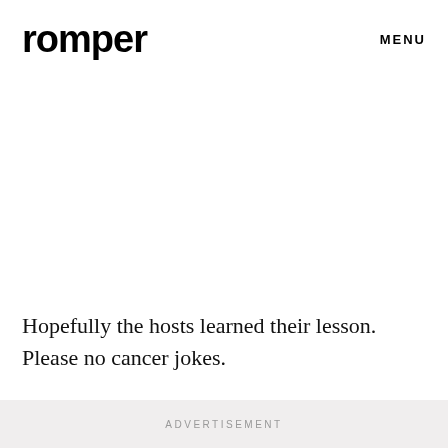romper  MENU
Hopefully the hosts learned their lesson. Please no cancer jokes.
ADVERTISEMENT